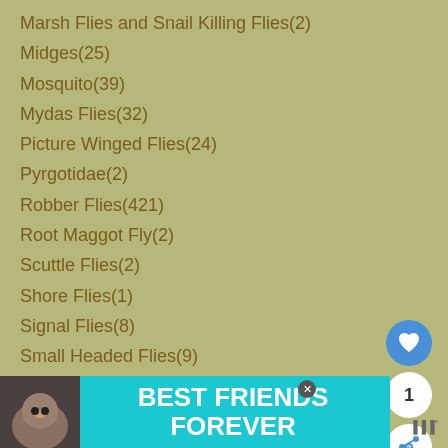Marsh Flies and Snail Killing Flies(2)
Midges(25)
Mosquito(39)
Mydas Flies(32)
Picture Winged Flies(24)
Pyrgotidae(2)
Robber Flies(421)
Root Maggot Fly(2)
Scuttle Flies(2)
Shore Flies(1)
Signal Flies(8)
Small Headed Flies(9)
Snipe Flies(28)
Soldier Flies(49) ▼
Chiromyzinae(9)
Stiletto Flies(1)
Stilt Legged Flies(11)
Syrphid Flies(173)
Tachinid Flies(93)
[Figure (screenshot): UI overlay with heart/like button showing count 1, share button, and What's Next panel showing 'Squashed Giant...']
[Figure (infographic): Best Friends Forever advertisement banner with cat image at bottom of page]